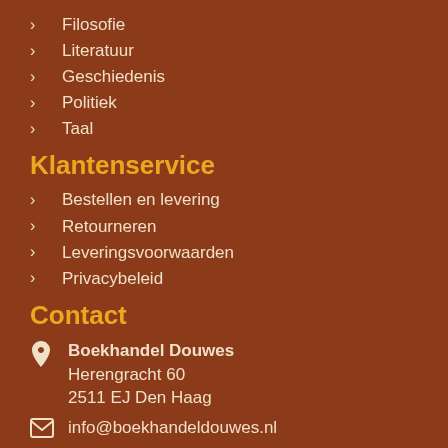Filosofie
Literatuur
Geschiedenis
Politiek
Taal
Klantenservice
Bestellen en levering
Retourneren
Leveringsvoorwaarden
Privacybeleid
Contact
Boekhandel Douwes
Herengracht 60
2511 EJ Den Haag
info@boekhandeldouwes.nl
facebook.com/boekhandeldouwes